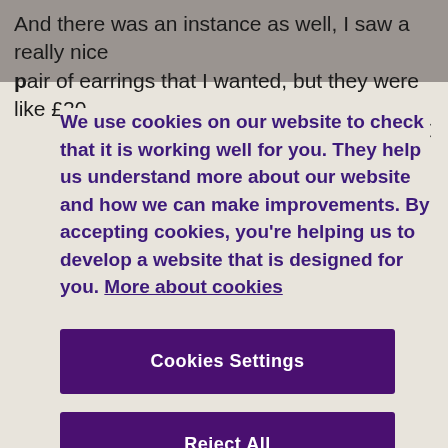And there was an instance as well, I saw a really nice pair of earrings that I wanted, but they were like £20,
We use cookies on our website to check that it is working well for you. They help us understand more about our website and how we can make improvements. By accepting cookies, you're helping us to develop a website that is designed for you. More about cookies
Cookies Settings
Reject All
Accept All Cookies